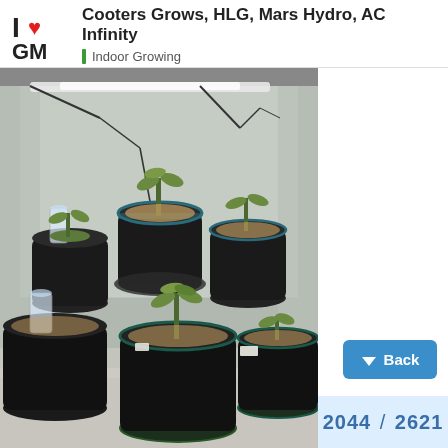Cooters Grows, HLG, Mars Hydro, AC Infinity | Indoor Growing
[Figure (photo): Indoor grow tent with multiple black fabric pots on saucers containing small cannabis seedlings. Silver reflective walls, LED grow lights and wiring visible overhead. Concrete floor.]
Back
2044 / 2621